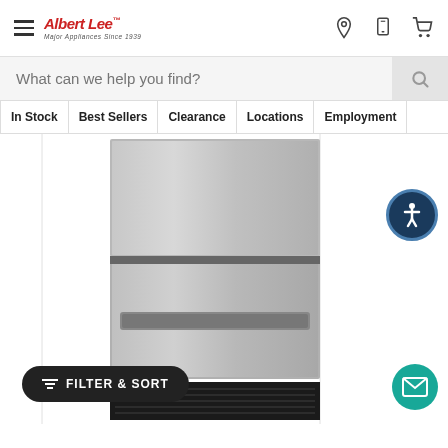Albert Lee - Major Appliances Since 1939 - Navigation header with hamburger menu, location, phone, and cart icons
What can we help you find?
In Stock
Best Sellers
Clearance
Locations
Employment
[Figure (photo): Stainless steel double-drawer refrigerator/freezer appliance unit]
FILTER & SORT